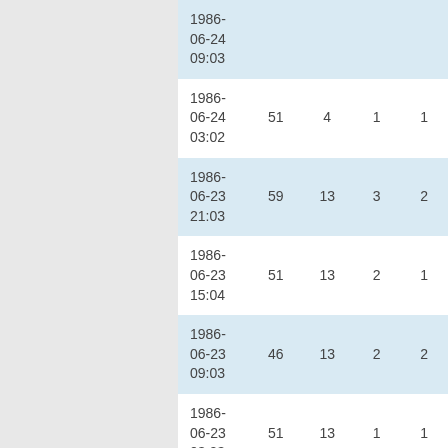| date | col1 | col2 | col3 | col4 |
| --- | --- | --- | --- | --- |
| 1986-06-24 09:03 |  |  |  |  |
| 1986-06-24 03:02 | 51 | 4 | 1 | 1 |
| 1986-06-23 21:03 | 59 | 13 | 3 | 2 |
| 1986-06-23 15:04 | 51 | 13 | 2 | 1 |
| 1986-06-23 09:03 | 46 | 13 | 2 | 2 |
| 1986-06-23 03:03 | 51 | 13 | 1 | 1 |